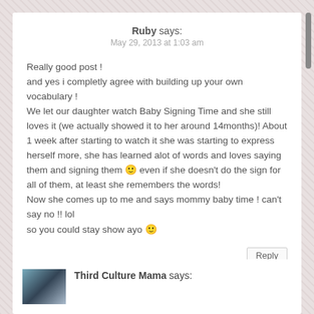Ruby says: May 29, 2013 at 1:03 am
Really good post !
and yes i completly agree with building up your own vocabulary !
We let our daughter watch Baby Signing Time and she still loves it (we actually showed it to her around 14months)! About 1 week after starting to watch it she was starting to express herself more, she has learned alot of words and loves saying them and signing them 🙂 even if she doesn't do the sign for all of them, at least she remembers the words!
Now she comes up to me and says mommy baby time ! can't say no !! lol
so you could stay show ayo 🙂
Reply
Third Culture Mama says: